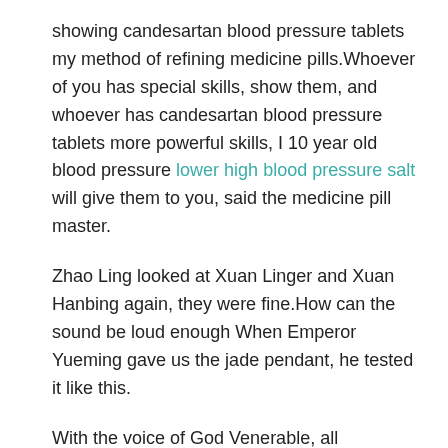showing candesartan blood pressure tablets my method of refining medicine pills.Whoever of you has special skills, show them, and whoever has candesartan blood pressure tablets more powerful skills, I 10 year old blood pressure lower high blood pressure salt will give them to you, said the medicine pill master.
Zhao Ling looked at Xuan Linger and Xuan Hanbing again, they were fine.How can the sound be loud enough When Emperor Yueming gave us the jade pendant, he tested it like this.
With the voice of God Venerable, all hypertension anaesthesia the people are not talking.Zhao Ling, as a transformed little Taoist boy, nodded slightly, there are six reincarnations, and the king of reincarnation is a very powerful being in charge candesartan blood pressure tablets of the six realms.
The news that comes down is that there is really no